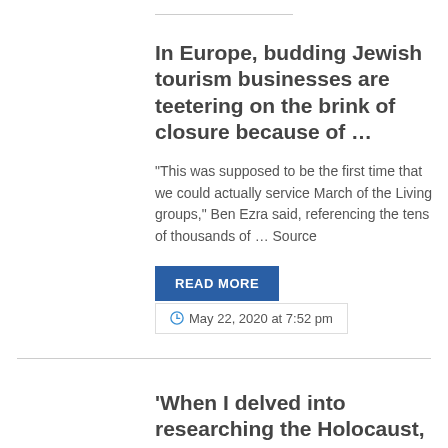In Europe, budding Jewish tourism businesses are teetering on the brink of closure because of …
“This was supposed to be the first time that we could actually service March of the Living groups,” Ben Ezra said, referencing the tens of thousands of … Source
READ MORE
May 22, 2020 at 7:52 pm
'When I delved into researching the Holocaust, I understood the